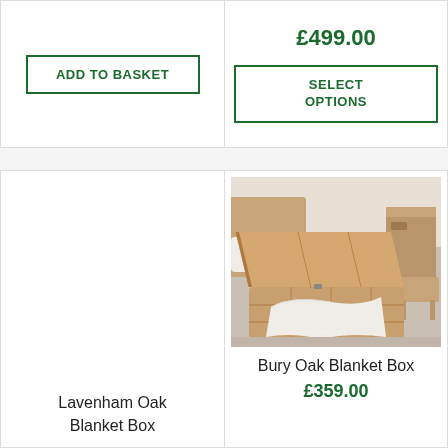£499.00
ADD TO BASKET
SELECT OPTIONS
[Figure (photo): Bury Oak Blanket Box - an open wooden storage chest with a lid propped open and a white towel draped inside, photographed in a bedroom setting]
Lavenham Oak Blanket Box
Bury Oak Blanket Box
£359.00